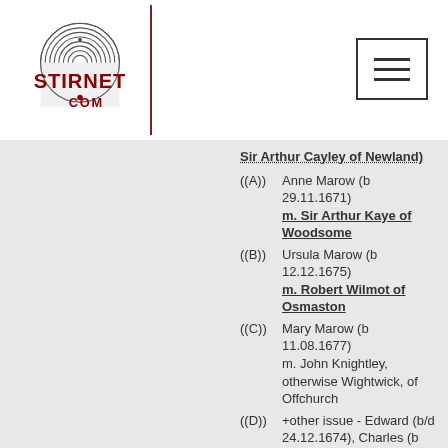[Figure (logo): Stirnet.com fingerprint logo with text STIRNET .COM in dark red]
Sir Arthur Cayley of Newland)
((A)) Anne Marow (b 29.11.1671)
m. Sir Arthur Kaye of Woodsome
((B)) Ursula Marow (b 12.12.1675)
m. Robert Wilmot of Osmaston
((C)) Mary Marow (b 11.08.1677)
m. John Knightley, otherwise Wightwick, of Offchurch
((D))+other issue - Edward (b/d 24.12.1674), Charles (b 30.12.1678, d 13.08.1679), Charles (b 05.03.679, d